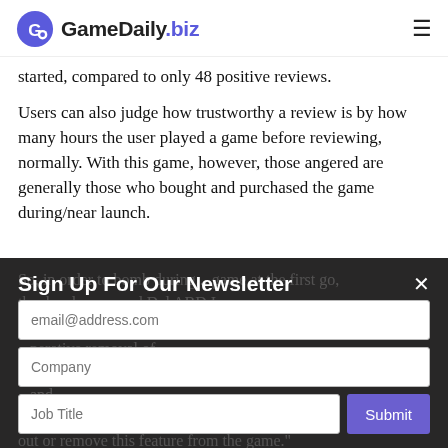GameDaily.biz
started, compared to only 48 positive reviews.
Users can also judge how trustworthy a review is by how many hours the user played a game before reviewing, normally. With this game, however, those angered are generally those who bought and purchased the game during/near launch.
Sign Up For Our Newsletter
email@address.com
Company
Job Title
Submit